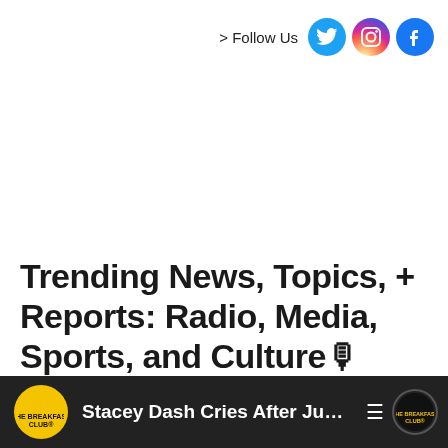> Follow Us [Twitter] [Instagram] [Facebook]
Trending News, Topics, + Reports: Radio, Media, Sports, and Culture🎙
[Figure (screenshot): Bottom bar showing Breakfast Club podcast thumbnail with text 'Stacey Dash Cries After Ju...' and menu/logo icons on dark background]